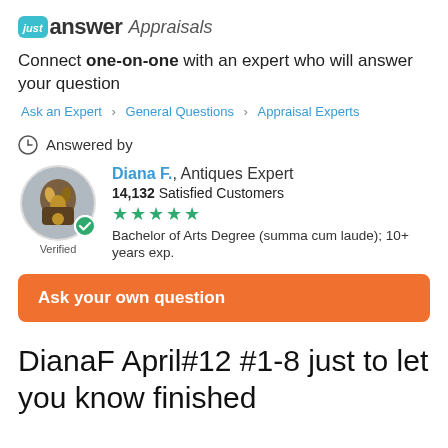[Figure (logo): JustAnswer Appraisals logo with teal box containing 'just' and bold 'answer' text followed by italic 'Appraisals']
Connect one-on-one with an expert who will answer your question
Ask an Expert > General Questions > Appraisal Experts
Answered by
[Figure (photo): Circular avatar of Diana F. with antique items, with a green verified checkmark badge. Text 'Verified' below.]
Diana F., Antiques Expert
14,132 Satisfied Customers
★★★★★
Bachelor of Arts Degree (summa cum laude); 10+ years exp.
Ask your own question
DianaF April#12 #1-8 just to let you know finished